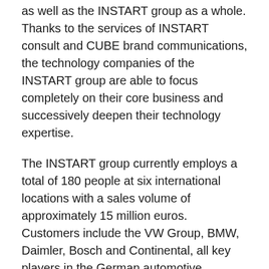as well as the INSTART group as a whole. Thanks to the services of INSTART consult and CUBE brand communications, the technology companies of the INSTART group are able to focus completely on their core business and successively deepen their technology expertise.
The INSTART group currently employs a total of 180 people at six international locations with a sales volume of approximately 15 million euros. Customers include the VW Group, BMW, Daimler, Bosch and Continental, all key players in the German automotive industry. In the medium term, the INSTART group will offer its expert solutions in the industry, agriculture, aerospace and medical sectors.